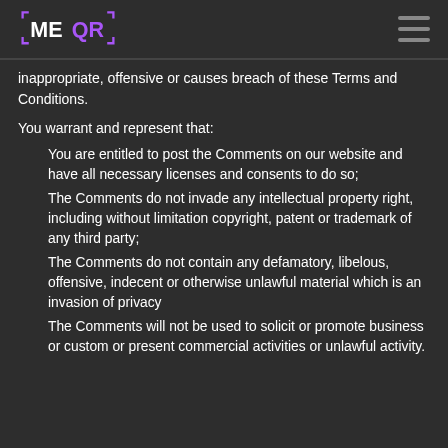MEQR
inappropriate, offensive or causes breach of these Terms and Conditions.
You warrant and represent that:
You are entitled to post the Comments on our website and have all necessary licenses and consents to do so;
The Comments do not invade any intellectual property right, including without limitation copyright, patent or trademark of any third party;
The Comments do not contain any defamatory, libelous, offensive, indecent or otherwise unlawful material which is an invasion of privacy
The Comments will not be used to solicit or promote business or custom or present commercial activities or unlawful activity.